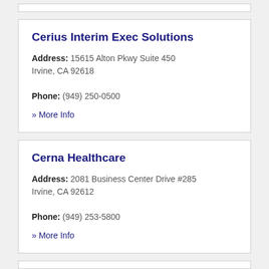Cerius Interim Exec Solutions
Address: 15615 Alton Pkwy Suite 450 Irvine, CA 92618
Phone: (949) 250-0500
» More Info
Cerna Healthcare
Address: 2081 Business Center Drive #285 Irvine, CA 92612
Phone: (949) 253-5800
» More Info